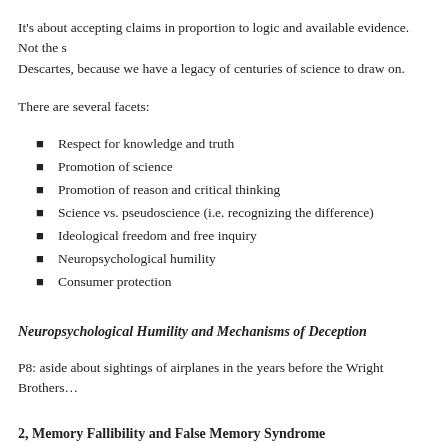It's about accepting claims in proportion to logic and available evidence. Not the s Descartes, because we have a legacy of centuries of science to draw on.
There are several facets:
Respect for knowledge and truth
Promotion of science
Promotion of reason and critical thinking
Science vs. pseudoscience (i.e. recognizing the difference)
Ideological freedom and free inquiry
Neuropsychological humility
Consumer protection
Neuropsychological Humility and Mechanisms of Deception
P8: aside about sightings of airplanes in the years before the Wright Brothers…
2, Memory Fallibility and False Memory Syndrome
Our vivid childhood memories are mostly, or entirely false. People recall incidents especially, long-term memory, are malleable, subject to fusion, confabulation (e.g. suggestion). Memories are personalized, contaminated, distorted. People are over- …